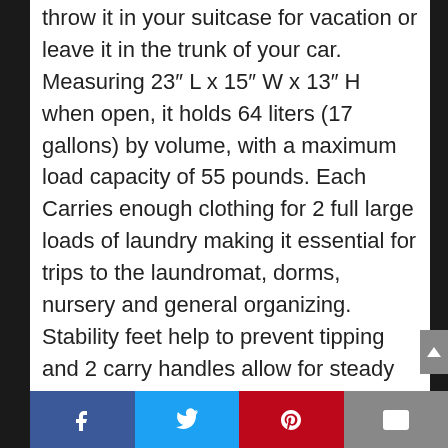throw it in your suitcase for vacation or leave it in the trunk of your car. Measuring 23″ L x 15″ W x 13″ H when open, it holds 64 liters (17 gallons) by volume, with a maximum load capacity of 55 pounds. Each Carries enough clothing for 2 full large loads of laundry making it essential for trips to the laundromat, dorms, nursery and general organizing. Stability feet help to prevent tipping and 2 carry handles allow for steady and balanced transportation. This sturdy pop-up hamper/basket not only wipes clean, but collapses flat to less than 2″ for compact storage. Great for both men and women!